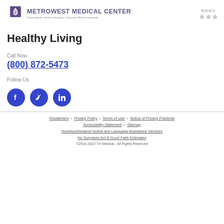[Figure (logo): MetroWest Medical Center logo with flame/diamond icon and text: Framingham Union Hospital • Leonard Morse Hospital]
Healthy Living
Call Now
(800) 872-5473
Follow Us
[Figure (illustration): Three blue circular social media icons: Facebook, Twitter, LinkedIn]
Disclaimers • Privacy Policy • Terms of Use • Notice of Privacy Practices • Accessibility Statement • Sitemap • Nondiscrimination Notice and Language Assistance Services • No Surprises Act & Good Faith Estimates • ©2016-2022 TH Medical - All Rights Reserved